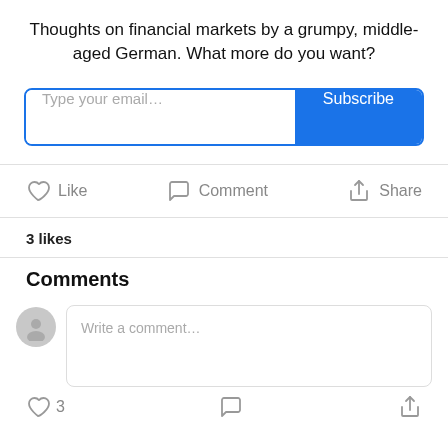Thoughts on financial markets by a grumpy, middle-aged German. What more do you want?
[Figure (screenshot): Email subscription input field with 'Type your email...' placeholder and a blue 'Subscribe' button]
[Figure (infographic): Action bar with Like (heart icon), Comment (speech bubble icon), and Share (share icon) buttons]
3 likes
Comments
[Figure (screenshot): Comment input area with gray avatar icon and 'Write a comment...' placeholder text in a rounded input box]
[Figure (infographic): Bottom bar with heart icon and '3', speech bubble icon, and share icon]